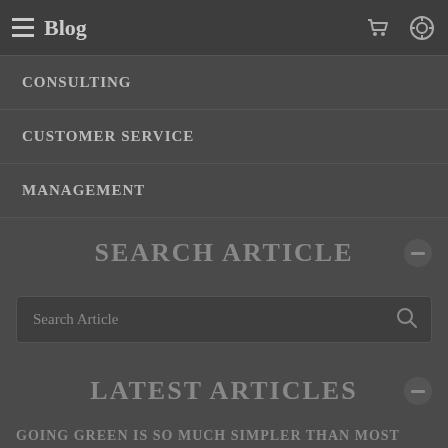Blog
CONSULTING
CUSTOMER SERVICE
MANAGEMENT
SEARCH ARTICLE
Search Article
LATEST ARTICLES
GOING GREEN IS SO MUCH SIMPLER THAN MOST